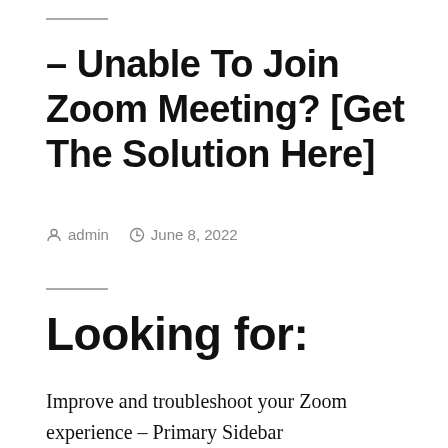– Unable To Join Zoom Meeting? [Get The Solution Here]
admin   June 8, 2022
Looking for:
Improve and troubleshoot your Zoom experience – Primary Sidebar